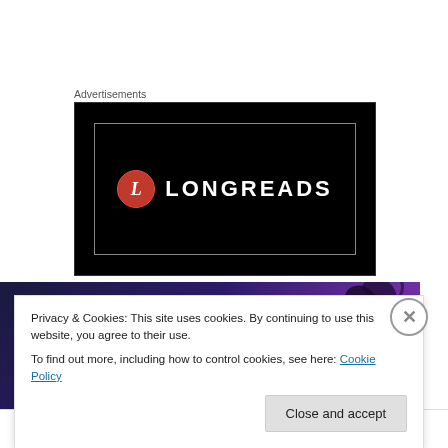Advertisements
[Figure (logo): Longreads logo on black background with red circle containing italic L and white text LONGREADS]
[Figure (illustration): Dark blue/purple banner with white bold text 'When you stop chasing the wrong things' and silhouette of person with raised arm]
Privacy & Cookies: This site uses cookies. By continuing to use this website, you agree to their use.
To find out more, including how to control cookies, see here: Cookie Policy
Close and accept